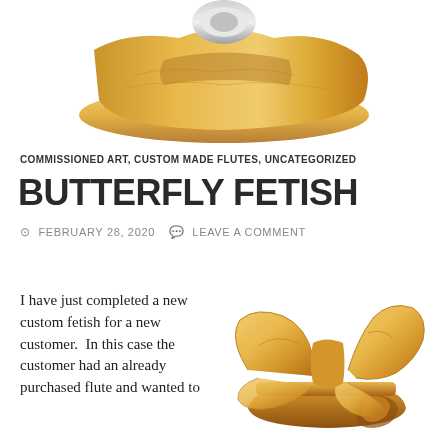[Figure (photo): Wooden flute fetish piece, top portion, light golden wood with round metal piece, photographed from above on white background]
COMMISSIONED ART, CUSTOM MADE FLUTES, UNCATEGORIZED
BUTTERFLY FETISH
FEBRUARY 28, 2020   LEAVE A COMMENT
I have just completed a new custom fetish for a new customer.  In this case the customer had an already purchased flute and wanted to
[Figure (photo): Wooden butterfly fetish piece, golden colored wood carved into butterfly shape sitting on a stand/block, photographed on white background]